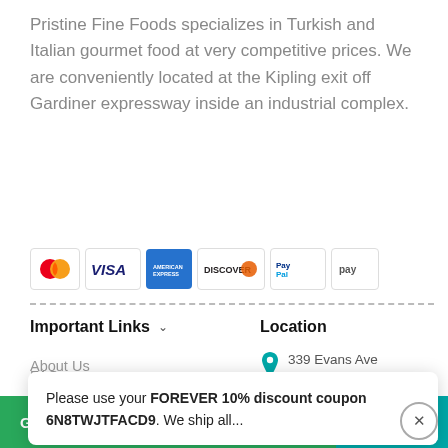Pristine Fine Foods specializes in Turkish and Italian gourmet food at very competitive prices. We are conveniently located at the Kipling exit off Gardiner expressway inside an industrial complex.
[Figure (other): Payment method icons: Mastercard, Visa, American Express, Discover, PayPal, Pay]
Important Links
Location
About Us
339 Evans Ave Etobicoke, ON M8Y 1Z2
Contact Us
Return Policy
416-259-3737
info@turkishmart.ca
Please use your FOREVER 10% discount coupon 6N8TWJTFACD9. We ship all...
FAQ
Got questions?
arte reserved